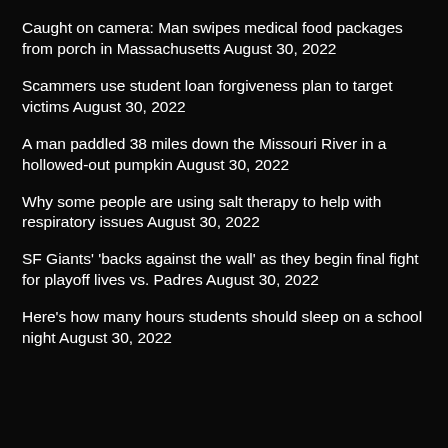Caught on camera: Man swipes medical food packages from porch in Massachusetts August 30, 2022
Scammers use student loan forgiveness plan to target victims August 30, 2022
A man paddled 38 miles down the Missouri River in a hollowed-out pumpkin August 30, 2022
Why some people are using salt therapy to help with respiratory issues August 30, 2022
SF Giants' 'backs against the wall' as they begin final fight for playoff lives vs. Padres August 30, 2022
Here's how many hours students should sleep on a school night August 30, 2022